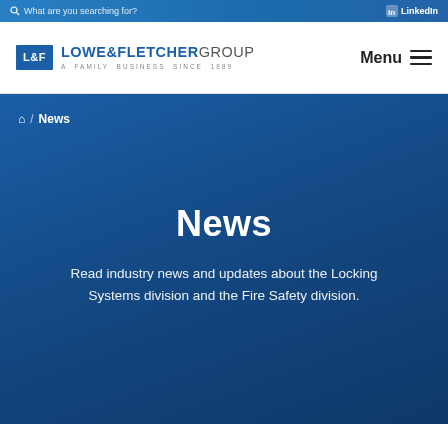What are you searching for? / LinkedIn
[Figure (logo): Lowe & Fletcher Group logo — blue L&F box with company name and tagline 'A Family Business Since 1889']
Menu
🏠 / News
News
Read industry news and updates about the Locking Systems division and the Fire Safety division.